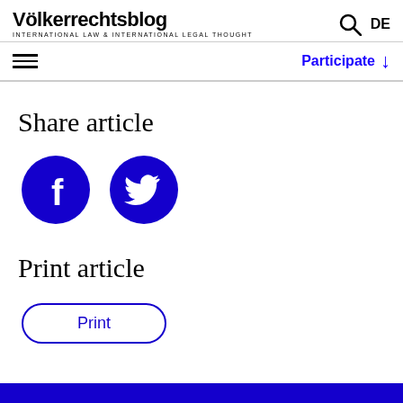Völkerrechtsblog — INTERNATIONAL LAW & INTERNATIONAL LEGAL THOUGHT — DE — Participate
Share article
[Figure (illustration): Facebook icon: blue circle with white 'f' logo]
[Figure (illustration): Twitter icon: blue circle with white bird logo]
Print article
Print